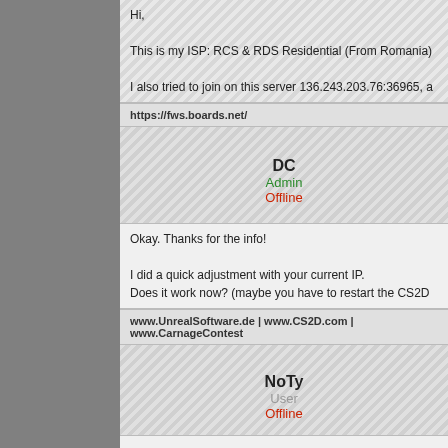Hi,

This is my ISP: RCS & RDS Residential (From Romania)

I also tried to join on this server 136.243.203.76:36965, a
https://fws.boards.net/
DC
Admin
Offline
Okay. Thanks for the info!

I did a quick adjustment with your current IP.
Does it work now? (maybe you have to restart the CS2D
www.UnrealSoftware.de | www.CS2D.com | www.CarnageContest
NoTy
User
Offline
Alright, sir, it finally works. Thank you!
https://fws.boards.net/